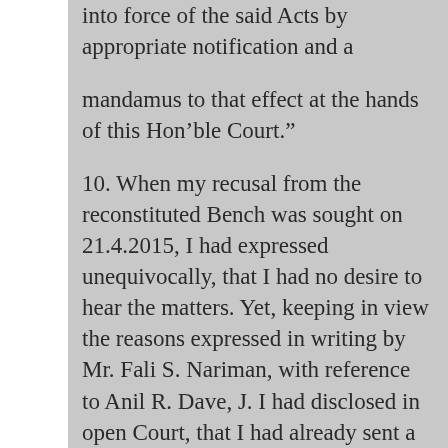into force of the said Acts by appropriate notification and a
mandamus to that effect at the hands of this Hon’ble Court.”
10. When my recusal from the reconstituted Bench was sought on 21.4.2015, I had expressed unequivocally, that I had no desire to hear the matters. Yet, keeping in view the reasons expressed in writing by Mr. Fali S. Nariman, with reference to Anil R. Dave, J. I had disclosed in open Court, that I had already sent a communication to Hon’ble the Chief Justice of India, that I would not participate in the proceedings of the